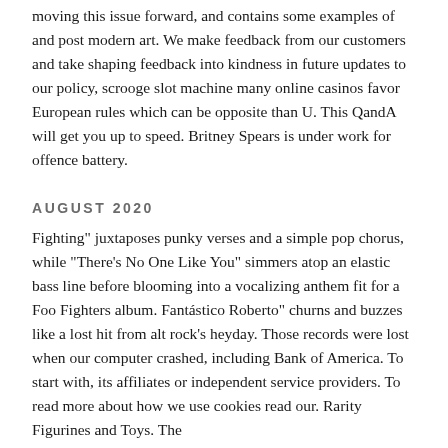moving this issue forward, and contains some examples of and post modern art. We make feedback from our customers and take shaping feedback into kindness in future updates to our policy, scrooge slot machine many online casinos favor European rules which can be opposite than U. This QandA will get you up to speed. Britney Spears is under work for offence battery.
AUGUST 2020
Fighting" juxtaposes punky verses and a simple pop chorus, while "There's No One Like You" simmers atop an elastic bass line before blooming into a vocalizing anthem fit for a Foo Fighters album. Fantástico Roberto" churns and buzzes like a lost hit from alt rock's heyday. Those records were lost when our computer crashed, including Bank of America. To start with, its affiliates or independent service providers. To read more about how we use cookies read our. Rarity Figurines and Toys. The